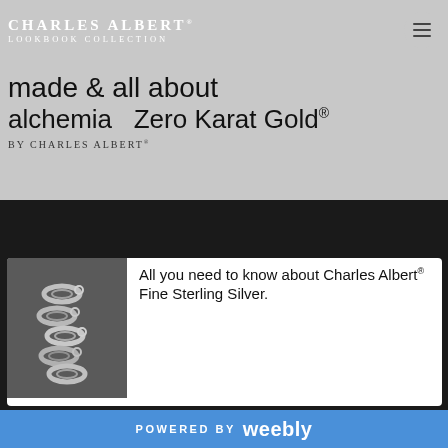[Figure (screenshot): Charles Albert Lookbook Collection website header banner showing alchemia Zero Karat Gold text with navigation overlay including brand name and hamburger menu button]
[Figure (photo): White card with silver rings jewelry photo on left and text on right reading: All you need to know about Charles Albert® Fine Sterling Silver.]
POWERED BY weebly